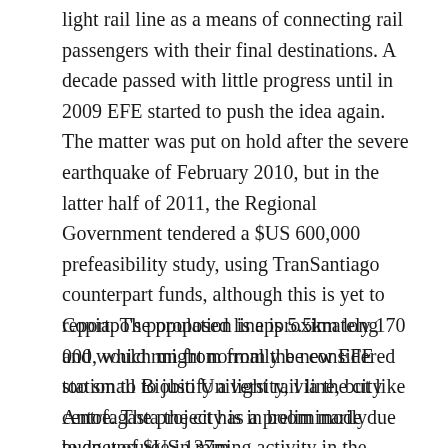light rail line as a means of connecting rail passengers with their final destinations. A decade passed with little progress until in 2009 EFE started to push the idea again. The matter was put on hold after the severe earthquake of February 2010, but in the latter half of 2011, the Regional Government tendered a $US 600,000 prefeasibility study, using TranSantiago counterpart funds, although this is yet to report. The proposed line is 5.5km long and would run from from the new EFE station to Biobio University, via the city centre. The project has a preliminarily budget of $US 137m.
Copiapo's population is approximately 170 000, which might normally be considered too small to justify a light rail line, but like Antofagasta the city is in boom mode due to an upsurge in mining activity in the surrounding region. The Ferronor main line currently